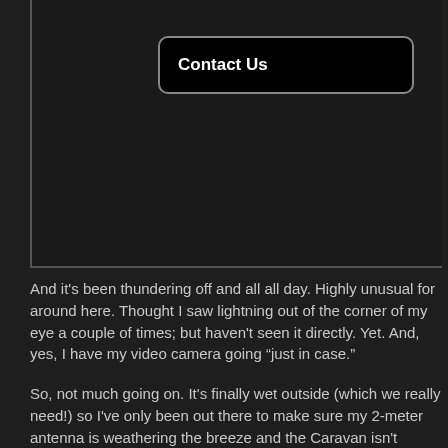[Figure (screenshot): Dark panel with a 'Contact Us' button (black rectangle with rounded corners and white border), with left and bottom borders visible.]
And it's been thundering off and all all day. Highly unusual for around here. Thought I saw lightning out of the corner of my eye a couple of times; but haven't seen it directly. Yet. And, yes, I have my video camera going “just in case.”
So, not much going on. It's finally wet outside (which we really need!) so I've only been out there to make sure my 2-meter antenna is weathering the breeze and the Caravan isn't leaking.